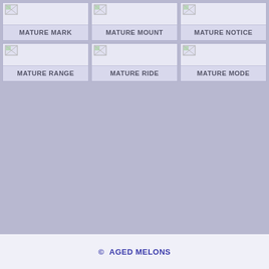[Figure (other): Grid of 6 thumbnail cards with broken image icons and labels: MATURE MARK, MATURE MOUNT, MATURE NOTICE, MATURE RANGE, MATURE RIDE, MATURE MODE]
© AGED MELONS